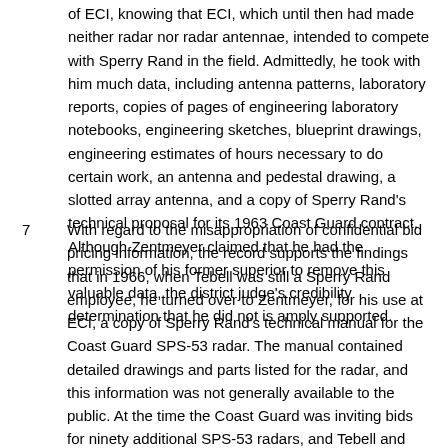of ECI, knowing that ECI, which until then had made neither radar nor radar antennae, intended to compete with Sperry Rand in the field. Admittedly, he took with him much data, including antenna patterns, laboratory reports, copies of pages of engineering laboratory notebooks, engineering sketches, blueprint drawings, engineering estimates of hours necessary to do certain work, an antenna and pedestal drawing, a slotted array antenna, and a copy of Sperry Rand's technical proposal for its 1963 Coast Guard contract. Although Zentmeyer claimed that he had the permission of his former superior to remove this valuable data, the district judge's credibility determination that he did not is amply supported.
7   With regard to the misappropriation of confidential bid pricing information, the record supports the findings that in 1966, when Tebell was still a Sperry Rand employee, he turned over to Zentmeyer, for his use at ECI, a copy of Sperry Rand's technical manual for the Coast Guard SPS-53 radar. The manual contained detailed drawings and parts listed for the radar, and this information was not generally available to the public. At the time the Coast Guard was inviting bids for ninety additional SPS-53 radars, and Tebell and Zentmeyer intended that ECI would use the knowledge contained therein to bid on the Coast Guard contract. In fact, ECI did